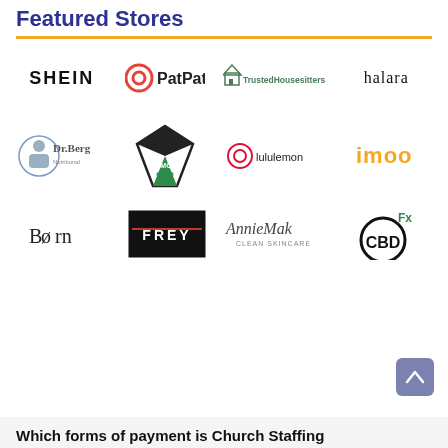Featured Stores
[Figure (logo): Grid of featured store logos: SHEIN, PatPat, TrustedHousesitters, halara, Dr. Berg, Diamond CBD, lululemon, imoo, Born, FREY, AnnieMak Clean Skincare, CBDfx]
Which forms of payment is Church Staffing